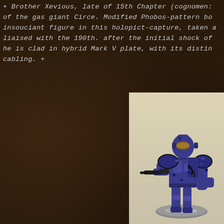+ Brother Xevious, late of 15th Chapter (cognomen: ...) of the gas giant Circe. Modified Phobos-pattern bo... insouciant figure in this holopict-capture, taken a... liaised with the 190th. after the initial shock of ... he is clad in hybrid Mark V plate, with its distin... cabling. +
[Figure (photo): A painted blue Space Marine miniature figure in Mark V power armour, armed with a weapon, standing on a scenic base. The miniature is painted in deep blue with dark weathering effects. The background is cream/white.]